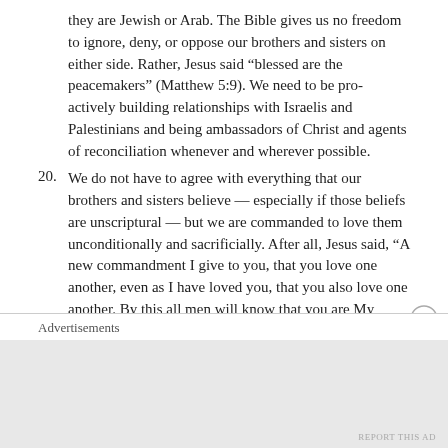they are Jewish or Arab. The Bible gives us no freedom to ignore, deny, or oppose our brothers and sisters on either side. Rather, Jesus said “blessed are the peacemakers” (Matthew 5:9). We need to be pro-actively building relationships with Israelis and Palestinians and being ambassadors of Christ and agents of reconciliation whenever and wherever possible.
20. We do not have to agree with everything that our brothers and sisters believe — especially if those beliefs are unscriptural — but we are commanded to love them unconditionally and sacrificially. After all, Jesus said, “A new commandment I give to you, that you love one another, even as I have loved you, that you also love one another. By this all men will know that you are My disciples, if you have love for one another.” (John 13:34-35)
21. Now, back to the prophecy and its analysis: It could be reasonably argued that Israel is living more securely today than at any other time in its 63 years. The Israeli Defense Forces are widely considered the strongest and most effective ground fighting force i...
Advertisements